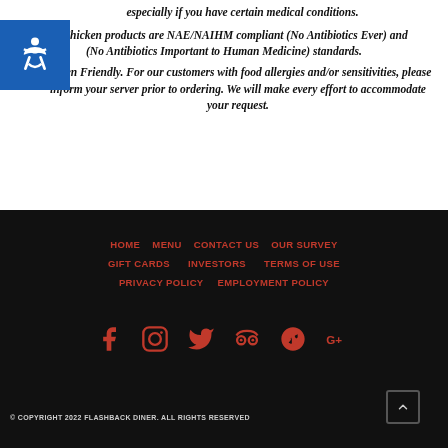especially if you have certain medical conditions. Our Chicken products are NAE/NAIHM compliant (No Antibiotics Ever) and (No Antibiotics Important to Human Medicine) standards.
Gluten Friendly. For our customers with food allergies and/or sensitivities, please inform your server prior to ordering. We will make every effort to accommodate your request.
HOME  MENU  CONTACT US  OUR SURVEY  GIFT CARDS  INVESTORS  TERMS OF USE  PRIVACY POLICY  EMPLOYMENT POLICY
[Figure (infographic): Social media icons row: Facebook, Instagram, Twitter, TripAdvisor, Yelp, Google+]
© COPYRIGHT 2022 FLASHBACK DINER. ALL RIGHTS RESERVED